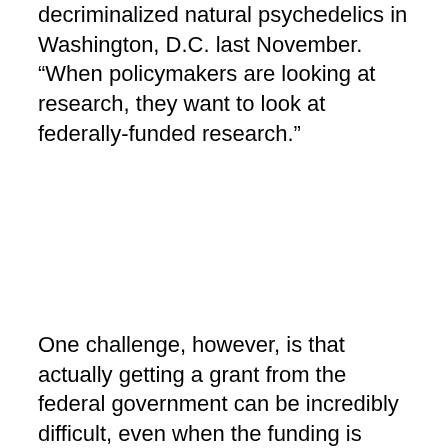decriminalized natural psychedelics in Washington, D.C. last November. “When policymakers are looking at research, they want to look at federally-funded research.”
One challenge, however, is that actually getting a grant from the federal government can be incredibly difficult, even when the funding is there. The grants themselves are often hundreds of pages long. “You